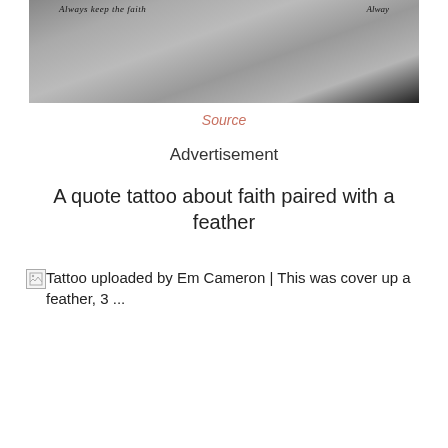[Figure (photo): Photo of tattoos on wrists/arms showing cursive text 'Always keep the faith' and feather designs]
Source
Advertisement
A quote tattoo about faith paired with a feather
[Figure (photo): Broken image placeholder: Tattoo uploaded by Em Cameron | This was cover up a feather, 3 ...]